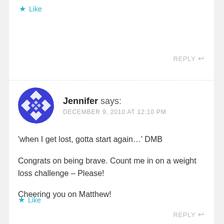★ Like
REPLY ↩
Jennifer says:
DECEMBER 9, 2010 AT 12:10 PM
'when I get lost, gotta start again...' DMB

Congrats on being brave. Count me in on a weight loss challenge – Please!

Cheering you on Matthew!
★ Like
REPLY ↩